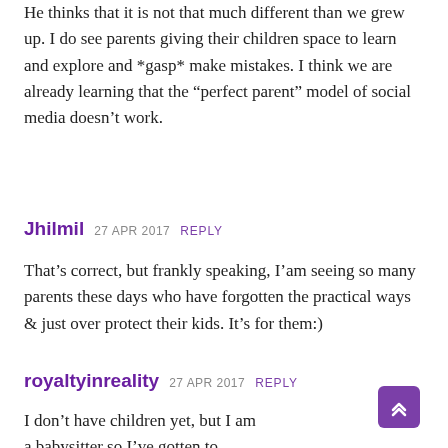He thinks that it is not that much different than we grew up. I do see parents giving their children space to learn and explore and *gasp* make mistakes. I think we are already learning that the “perfect parent” model of social media doesn’t work.
Jhilmil  27 APR 2017  REPLY
That’s correct, but frankly speaking, I’am seeing so many parents these days who have forgotten the practical ways & just over protect their kids. It’s for them:)
royaltyinreality  27 APR 2017  REPLY
I don’t have children yet, but I am a babysitter so I’ve gotten to observe a lot of parents. As you mentioned, I’ve noticed